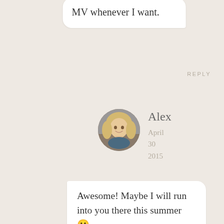MV whenever I want.
REPLY
[Figure (photo): Circular avatar photo of a smiling blonde woman (Alex)]
Alex
April 30 2015
Awesome! Maybe I will run into you there this summer 🙂
REPLY
[Figure (illustration): Teal globe/world icon as avatar for Caity]
Caity